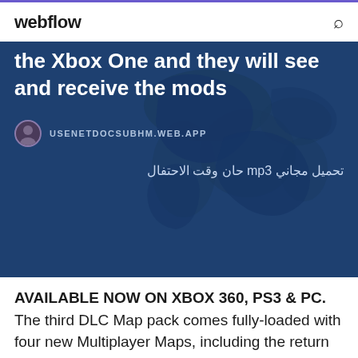webflow
the Xbox One and they will see and receive the mods
USENETDOCSUBHM.WEB.APP
تحميل مجاني mp3 حان وقت الاحتفال
AVAILABLE NOW ON XBOX 360, PS3 & PC. The third DLC Map pack comes fully-loaded with four new Multiplayer Maps, including the return of a re-